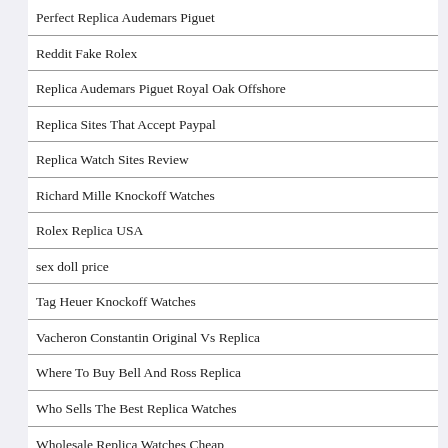Perfect Replica Audemars Piguet
Reddit Fake Rolex
Replica Audemars Piguet Royal Oak Offshore
Replica Sites That Accept Paypal
Replica Watch Sites Review
Richard Mille Knockoff Watches
Rolex Replica USA
sex doll price
Tag Heuer Knockoff Watches
Vacheron Constantin Original Vs Replica
Where To Buy Bell And Ross Replica
Who Sells The Best Replica Watches
Wholesale Replica Watches Cheap
Why Is Illegal To Have A Replica Rolex
wigs